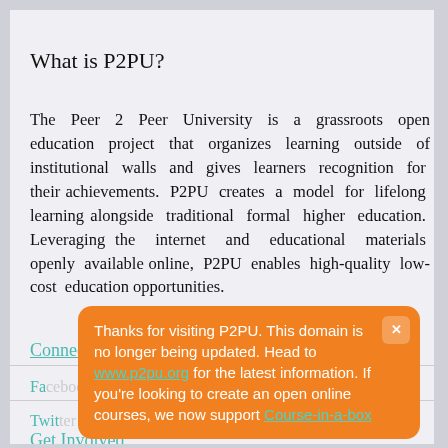What is P2PU?
The Peer 2 Peer University is a grassroots open education project that organizes learning outside of institutional walls and gives learners recognition for their achievements. P2PU creates a model for lifelong learning alongside traditional formal higher education. Leveraging the internet and educational materials openly available online, P2PU enables high-quality low-cost education opportunities.
Connect With Us
Facebook
Twitter
Thanks for visiting P2PU. This domain is no longer being updated. Head to www.p2pu.org for the latest information. If you're looking to create an open online courses, we now support Course-in-a-box
Get Involved